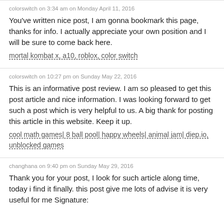colorswitch on 3:34 am on Monday April 11, 2016
You've written nice post, I am gonna bookmark this page, thanks for info. I actually appreciate your own position and I will be sure to come back here.
mortal kombat x, a10, roblox, color switch
colorswitch on 10:27 pm on Sunday May 22, 2016
This is an informative post review. I am so pleased to get this post article and nice information. I was looking forward to get such a post which is very helpful to us. A big thank for posting this article in this website. Keep it up.
cool math games| 8 ball pool| happy wheels| animal jam| diep.io, unblocked games
changhana on 9:40 pm on Sunday May 29, 2016
Thank you for your post, I look for such article along time, today i find it finally. this post give me lots of advise it is very useful for me Signature: